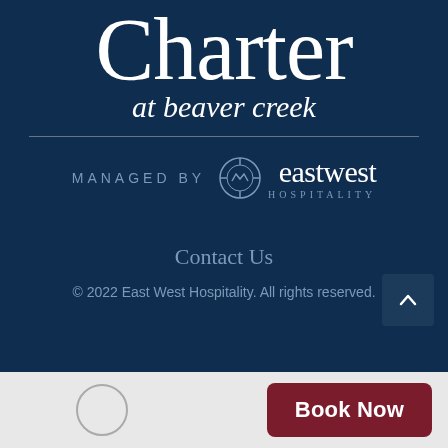Charter at beaver creek
MANAGED BY eastwest HOSPITALITY
Contact Us
© 2022 East West Hospitality. All rights reserved.
Book Now